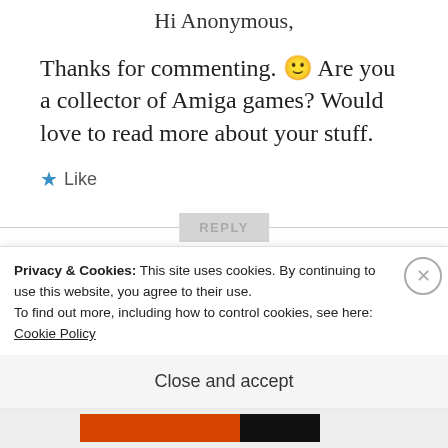Hi Anonymous,
Thanks for commenting. 🙂 Are you a collector of Amiga games? Would love to read more about your stuff.
★ Like
REPLY
The Heretic
Privacy & Cookies: This site uses cookies. By continuing to use this website, you agree to their use.
To find out more, including how to control cookies, see here: Cookie Policy
Close and accept